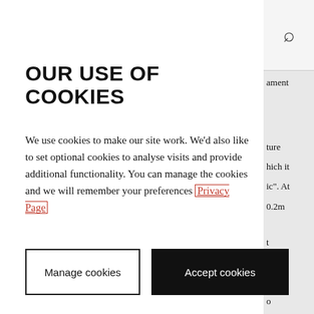[Figure (screenshot): Search icon (magnifying glass) in top-right panel area]
OUR USE OF COOKIES
We use cookies to make our site work. We'd also like to set optional cookies to analyse visits and provide additional functionality. You can manage the cookies and we will remember your preferences Privacy Page
Manage cookies
Accept cookies